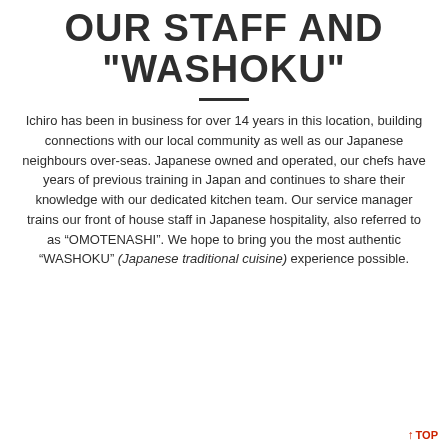OUR STAFF AND "WASHOKU"
Ichiro has been in business for over 14 years in this location, building connections with our local community as well as our Japanese neighbours over-seas. Japanese owned and operated, our chefs have years of previous training in Japan and continues to share their knowledge with our dedicated kitchen team. Our service manager trains our front of house staff in Japanese hospitality, also referred to as “OMOTENASHI”. We hope to bring you the most authentic “WASHOKU” (Japanese traditional cuisine) experience possible.
↑ TOP